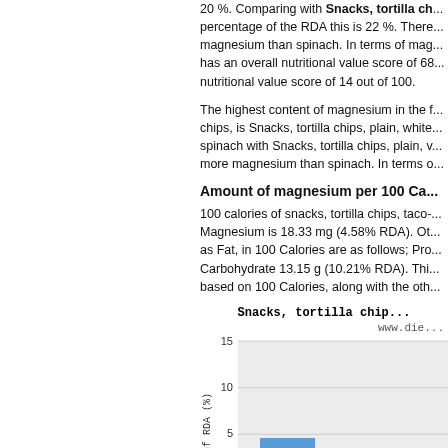20 %. Comparing with Snacks, tortilla ch... percentage of the RDA this is 22 %. There... magnesium than spinach. In terms of mag... has an overall nutritional value score of 68... nutritional value score of 14 out of 100.
The highest content of magnesium in the f... chips, is Snacks, tortilla chips, plain, white... spinach with Snacks, tortilla chips, plain, v... more magnesium than spinach. In terms o...
Amount of magnesium per 100 Ca...
100 calories of snacks, tortilla chips, taco-... Magnesium is 18.33 mg (4.58% RDA). Ot... as Fat, in 100 Calories are as follows; Pro... Carbohydrate 13.15 g (10.21% RDA). Thi... based on 100 Calories, along with the oth...
[Figure (bar-chart): Snacks, tortilla chip...]